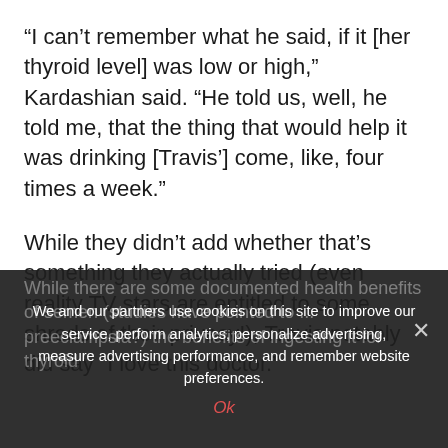“I can’t remember what he said, if it [her thyroid level] was low or high,” Kardashian said. “He told us, well, he told me, that the thing that would help it was drinking [Travis’] come, like, four times a week.”
While they didn’t add whether that’s something they actually tried (even reality TV stars are entitled to some shreds of their privacy!), Travis notably did say “I love this doctor.”
While there are some documented health benefits of semen (studies have pointed to ... preeclampsia?) the benefits of ingesting it for thyroid
We and our partners use cookies on this site to improve our service, perform analytics, personalize advertising, measure advertising performance, and remember website preferences.
Ok